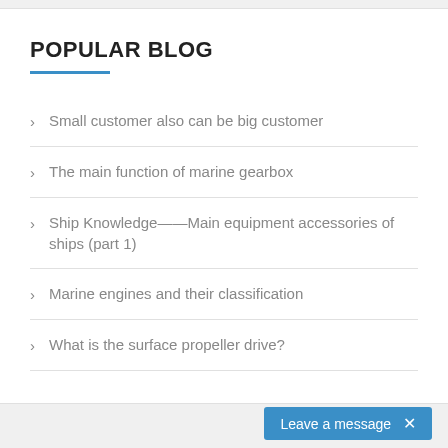POPULAR BLOG
Small customer also can be big customer
The main function of marine gearbox
Ship Knowledge——Main equipment accessories of ships (part 1)
Marine engines and their classification
What is the surface propeller drive?
Leave a message  ×